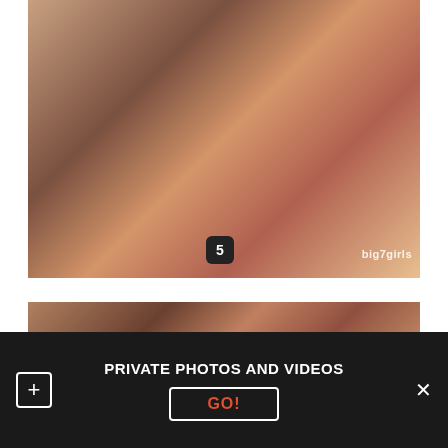[Figure (photo): Adult content photo with watermark 'big7girls' and badge '5' overlay]
[Figure (photo): Partial second adult content photo below]
PRIVATE PHOTOS AND VIDEOS
GO!